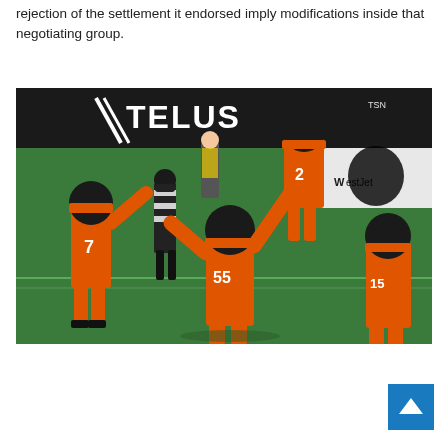rejection of the settlement it endorsed imply modifications inside that negotiating group.
[Figure (photo): Football players in orange uniforms celebrating on a field. Player #55 is lifting another player (#2) in the air. A referee in black and white stripes stands nearby. Advertising boards including TELUS and Westjet are visible in the background. TSN watermark visible top right.]